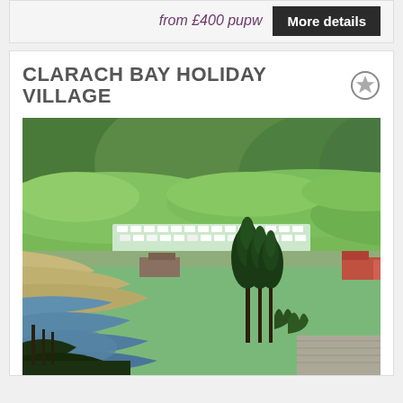from £400 pupw
More details
CLARACH BAY HOLIDAY VILLAGE
[Figure (photo): Aerial/elevated view of Clarach Bay Holiday Village showing caravans and chalets set against green rolling hills, with a beach, river estuary, and trees in the foreground]